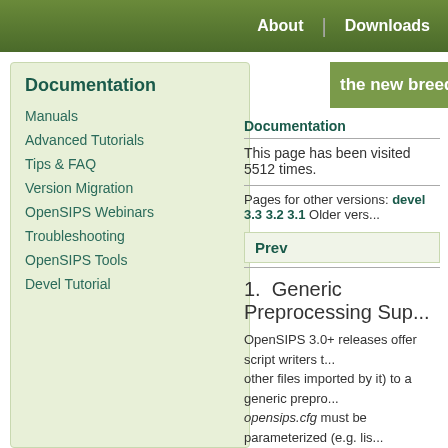About  |  Downloads
Documentation
Manuals
Advanced Tutorials
Tips & FAQ
Version Migration
OpenSIPS Webinars
Troubleshooting
OpenSIPS Tools
Devel Tutorial
the new breed of c...
Documentation
This page has been visited 5512 times.
Pages for other versions: devel 3.3 3.2 3.1 Older vers...
Prev
1.  Generic Preprocessing Sup...
OpenSIPS 3.0+ releases offer script writers t... other files imported by it) to a generic prepro... opensips.cfg must be parameterized (e.g. lis... to multiple servers, in an automated fashion.... <cmdline>" (preprocessor) option. For exam...
opensips -f opensips.cfg -p /bin/ca
... is a basic use of the "-p" option, by supply...